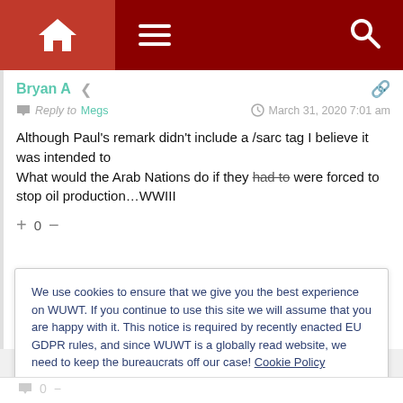WUWT navigation bar with home, menu, and search icons
Bryan A
Reply to Megs   March 31, 2020 7:01 am
Although Paul’s remark didn’t include a /sarc tag I believe it was intended to
What would the Arab Nations do if they had to were forced to stop oil production…WWIII
+ 0 −
We use cookies to ensure that we give you the best experience on WUWT. If you continue to use this site we will assume that you are happy with it. This notice is required by recently enacted EU GDPR rules, and since WUWT is a globally read website, we need to keep the bureaucrats off our case! Cookie Policy
Close and accept